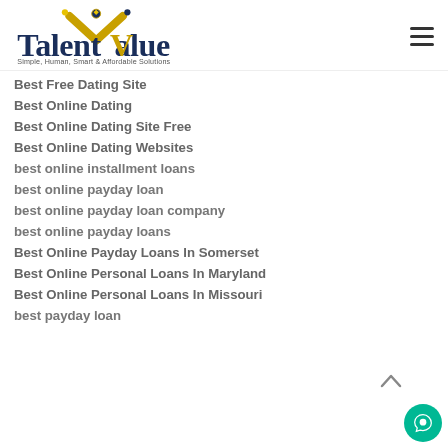[Figure (logo): TalentValue logo with tagline 'Simple, Human, Smart & Affordable Solutions']
Best Free Dating Site
Best Online Dating
Best Online Dating Site Free
Best Online Dating Websites
best online installment loans
best online payday loan
best online payday loan company
best online payday loans
Best Online Payday Loans In Somerset
Best Online Personal Loans In Maryland
Best Online Personal Loans In Missouri
best payday loan